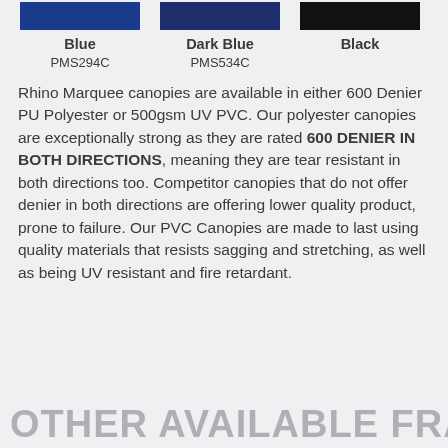[Figure (other): Three color swatches: Blue (PMS294C), Dark Blue (PMS534C), and Black, shown as rectangular blocks with labels and PMS codes below]
Rhino Marquee canopies are available in either 600 Denier PU Polyester or 500gsm UV PVC. Our polyester canopies are exceptionally strong as they are rated 600 DENIER IN BOTH DIRECTIONS, meaning they are tear resistant in both directions too. Competitor canopies that do not offer denier in both directions are offering lower quality product, prone to failure. Our PVC Canopies are made to last using quality materials that resists sagging and stretching, as well as being UV resistant and fire retardant.
OTHER AVAILABLE FRAME